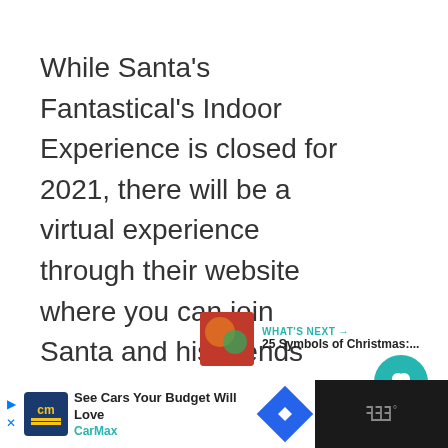While Santa's Fantastical's Indoor Experience is closed for 2021, there will be a virtual experience through their website where you can join Santa and his friends for some virtual holiday fun!
Check out the website for more information to come!
[Figure (infographic): Teal circular heart/like button with count 10, and a share button below]
[Figure (infographic): What's Next widget with thumbnail image and text: WHAT'S NEXT → 25 Symbols of Christmas:...]
[Figure (infographic): Advertisement bar: CarMax - See Cars Your Budget Will Love with logo and navigation icons]